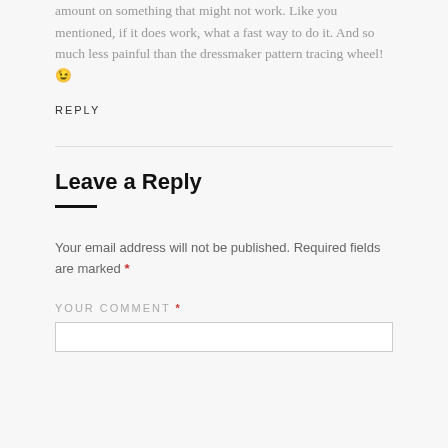amount on something that might not work. Like you mentioned, if it does work, what a fast way to do it. And so much less painful than the dressmaker pattern tracing wheel! 😉
REPLY
Leave a Reply
Your email address will not be published. Required fields are marked *
YOUR COMMENT *